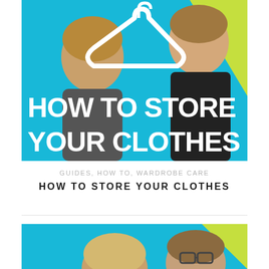[Figure (photo): Thumbnail image for 'How To Store Your Clothes' with two people (a woman on the left and a man on the right) against a bright blue background with a yellow-green accent shape in the top right corner and a large white clothes hanger graphic in the center. Bold white text reads 'HOW TO STORE YOUR CLOTHES'.]
GUIDES, HOW TO, WARDROBE CARE
HOW TO STORE YOUR CLOTHES
[Figure (photo): Partial thumbnail image showing two people against a blue background with yellow-green accent, partially cropped at the bottom of the page.]